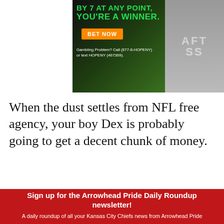[Figure (photo): Advertisement banner with green/black background, orange BET NOW button, gambling helpline text, and person wearing watch on right side. Text reads: 'BY 7 AT ANY POINT, YOU'RE A WINNER.' BET NOW. Gambling Problem? Call (877-8-HOPENY) or text HOPENY (467369).]
When the dust settles from NFL free agency, your boy Dex is probably going to get a decent chunk of money.
Sign up for the Arrowhead Pride Daily Roundup newsletter!
A daily roundup of all your Kansas City Chiefs news from Arrowhead Pride
Email (required)
SUBSCRIBE
By submitting your email, you agree to our Terms and Privacy Notice. You can opt out at any time. This site is protected by reCAPTCHA and the Google Privacy Policy and Terms of Service apply.